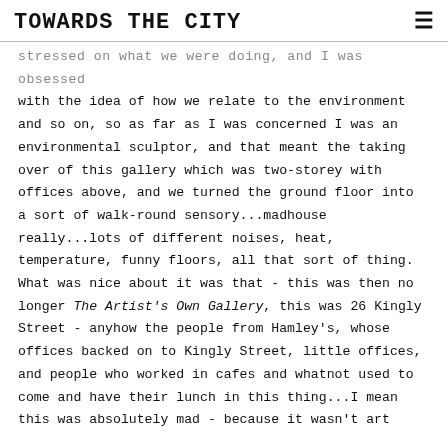TOWARDS THE CITY
...stressed on what we were doing, and I was obsessed with the idea of how we relate to the environment and so on, so as far as I was concerned I was an environmental sculptor, and that meant the taking over of this gallery which was two-storey with offices above, and we turned the ground floor into a sort of walk-round sensory...madhouse really...lots of different noises, heat, temperature, funny floors, all that sort of thing. What was nice about it was that - this was then no longer The Artist's Own Gallery, this was 26 Kingly Street - anyhow the people from Hamley's, whose offices backed on to Kingly Street, little offices, and people who worked in cafes and whatnot used to come and have their lunch in this thing...I mean this was absolutely mad - because it wasn't art